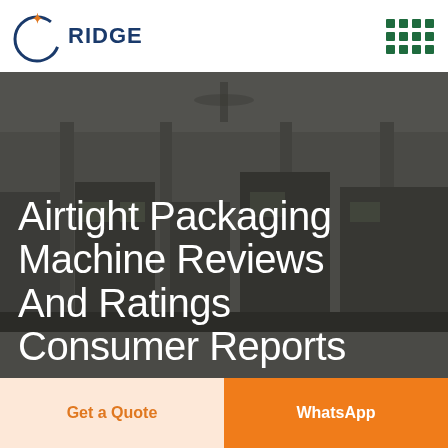RIDGE
[Figure (photo): Factory interior with industrial packaging machinery in the background, dimly lit with overhead fans, overlaid with a semi-transparent dark filter.]
Airtight Packaging Machine Reviews And Ratings Consumer Reports
Get a Quote
WhatsApp